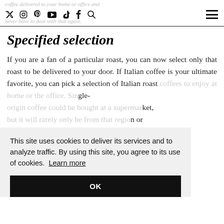coffee delivered to your home or office and never have to deal with that again.
Specified selection
If you are a fan of a particular roast, you can now select only that roast to be delivered to your door. If Italian coffee is your ultimate favorite, you can pick a selection of Italian roast coffees to enjoy at home or the office. Single-origin coffee could be bought at a supermarket, but it will rarely only be from that region or country. With an online coffee subscription, you can rest assured that your coffee will be exactly what you are looking for. You can even choose a specific blend based on the body, aroma, and
This site uses cookies to deliver its services and to analyze traffic. By using this site, you agree to its use of cookies. Learn more
OK